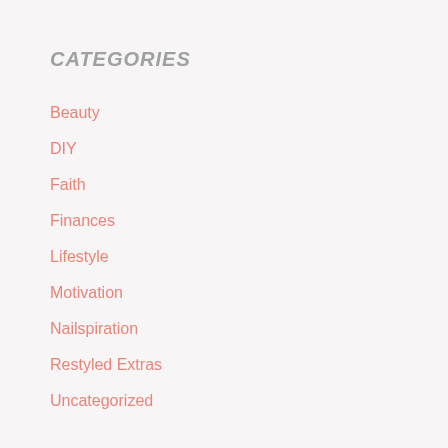CATEGORIES
Beauty
DIY
Faith
Finances
Lifestyle
Motivation
Nailspiration
Restyled Extras
Uncategorized